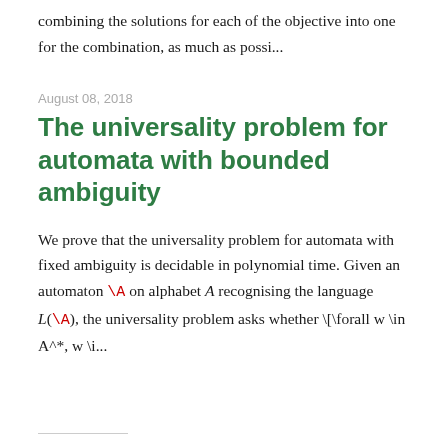combining the solutions for each of the objective into one for the combination, as much as possi...
August 08, 2018
The universality problem for automata with bounded ambiguity
We prove that the universality problem for automata with fixed ambiguity is decidable in polynomial time. Given an automaton \A on alphabet A recognising the language L(\A), the universality problem asks whether \[\forall w \in A^*, w \i...